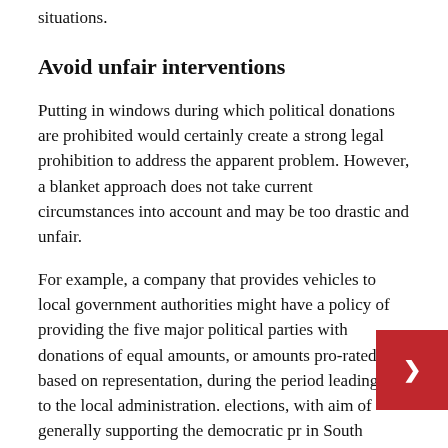situations.
Avoid unfair interventions
Putting in windows during which political donations are prohibited would certainly create a strong legal prohibition to address the apparent problem. However, a blanket approach does not take current circumstances into account and may be too drastic and unfair.
For example, a company that provides vehicles to local government authorities might have a policy of providing the five major political parties with donations of equal amounts, or amounts pro-rated based on representation, during the period leading up to the local administration. elections, with aim of generally supporting the democratic pr in South Africa. During this period, the same